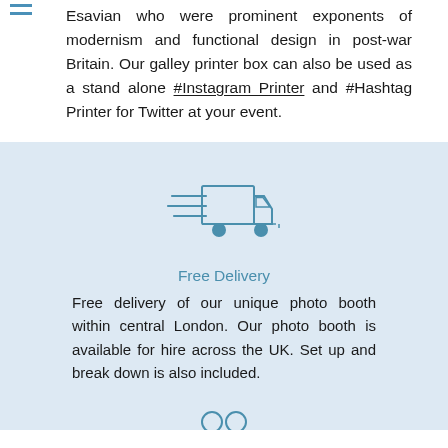Esavian who were prominent exponents of modernism and functional design in post-war Britain. Our galley printer box can also be used as a stand alone #Instagram Printer and #Hashtag Printer for Twitter at your event.
[Figure (illustration): Line art icon of a delivery truck with motion lines on a light blue background]
Free Delivery
Free delivery of our unique photo booth within central London. Our photo booth is available for hire across the UK. Set up and break down is also included.